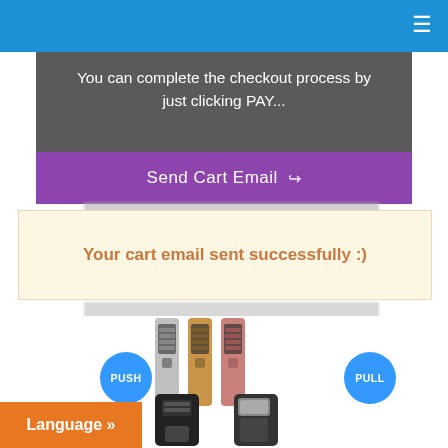Navigation bar with hamburger menu
You can complete the checkout process by just clicking PAY...
Send Cart Email
Your cart email sent successfully :)
[Figure (photo): Smart door lock products shown in multiple color variants (silver, gold, rose gold) with PUSH and PULL labeled blue circle buttons]
Language »